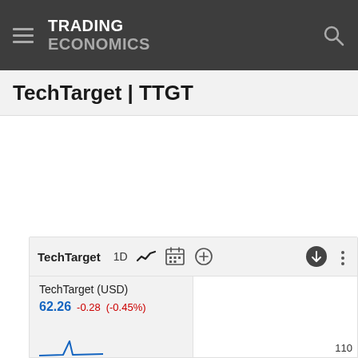TRADING ECONOMICS
TechTarget | TTGT
[Figure (screenshot): TechTarget (TTGT) stock chart widget showing price 62.26, change -0.28 (-0.45%), with 1D interval selector and chart/calendar/plus/download/more icons. Partial chart visible at bottom with value 110 on right axis.]